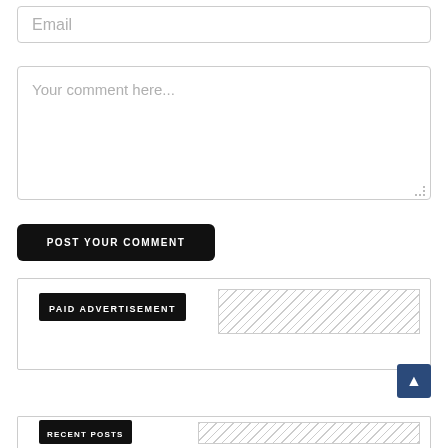Email
Your comment here...
POST YOUR COMMENT
[Figure (other): Paid Advertisement box with black label and hatched area placeholder]
[Figure (other): Recent Posts box with black label and hatched area placeholder, with scroll-to-top button]